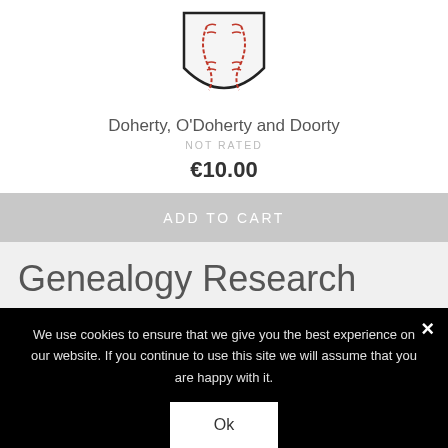[Figure (illustration): Baseball-shaped coat of arms / crest illustration with red stitching on white background]
Doherty, O'Doherty and Doorty
NOT RATED
€10.00
ADD TO CART
Genealogy Research
We use cookies to ensure that we give you the best experience on our website. If you continue to use this site we will assume that you are happy with it.
Ok